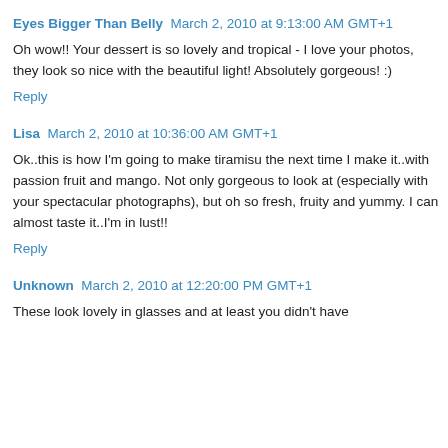Eyes Bigger Than Belly  March 2, 2010 at 9:13:00 AM GMT+1
Oh wow!! Your dessert is so lovely and tropical - I love your photos, they look so nice with the beautiful light! Absolutely gorgeous! :)
Reply
Lisa  March 2, 2010 at 10:36:00 AM GMT+1
Ok..this is how I'm going to make tiramisu the next time I make it..with passion fruit and mango. Not only gorgeous to look at (especially with your spectacular photographs), but oh so fresh, fruity and yummy. I can almost taste it..I'm in lust!!
Reply
Unknown  March 2, 2010 at 12:20:00 PM GMT+1
These look lovely in glasses and at least you didn't have